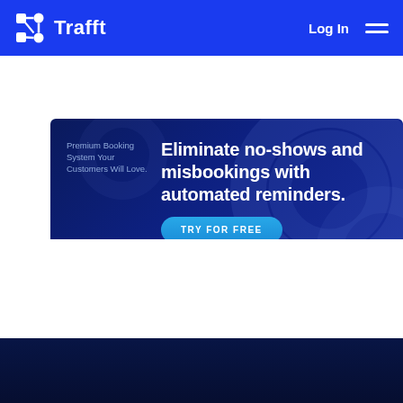Trafft — Log In navigation bar
[Figure (screenshot): Trafft website hero banner with text: Premium Booking System Your Customers Will Love. Eliminate no-shows and misbookings with automated reminders. TRY FOR FREE button.]
[Figure (screenshot): Dark navy footer section with Trafft logo at bottom.]